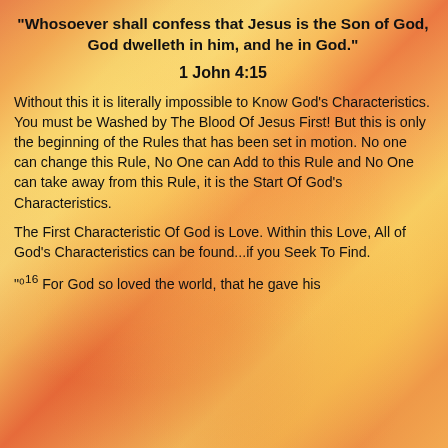“Whosoever shall confess that Jesus is the Son of God, God dwelleth in him, and he in God.”
1 John 4:15
Without this it is literally impossible to Know God’s Characteristics. You must be Washed by The Blood Of Jesus First! But this is only the beginning of the Rules that has been set in motion. No one can change this Rule, No One can Add to this Rule and No One can take away from this Rule, it is the Start Of God’s Characteristics.
The First Characteristic Of God is Love. Within this Love, All of God’s Characteristics can be found...if you Seek To Find.
“16 For God so loved the world, that he gave his...